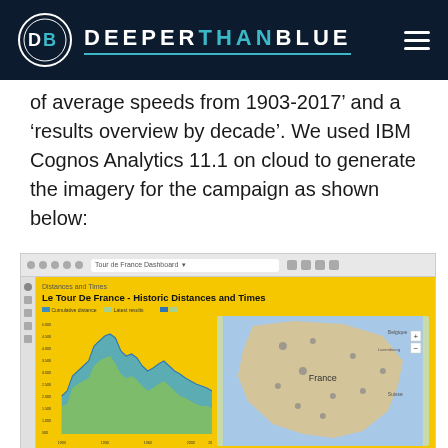DEEPERTHANBLUE
of average speeds from 1903-2017’ and a ‘results overview by decade’. We used IBM Cognos Analytics 11.1 on cloud to generate the imagery for the campaign as shown below:
[Figure (screenshot): Screenshot of IBM Cognos Analytics 11.1 dashboard showing 'Le Tour De France - Historic Distances and Times' with an area chart on the left showing historic distances and times data, and a map of France on the right.]